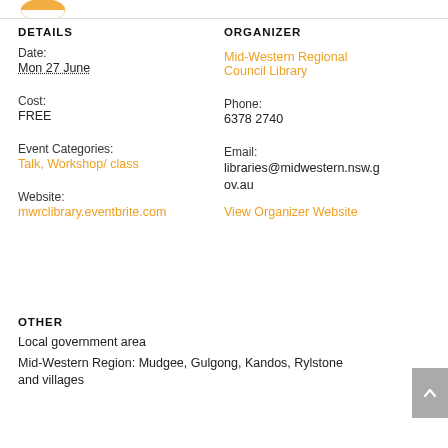[Figure (logo): Orange/yellow semi-circular logo at top left]
DETAILS
Date:
Mon 27 June
Cost:
FREE
Event Categories:
Talk, Workshop/ class
Website:
mwrclibrary.eventbrite.com
ORGANIZER
Mid-Western Regional Council Library
Phone:
6378 2740
Email:
libraries@midwestern.nsw.gov.au
View Organizer Website
OTHER
Local government area
Mid-Western Region: Mudgee, Gulgong, Kandos, Rylstone and villages